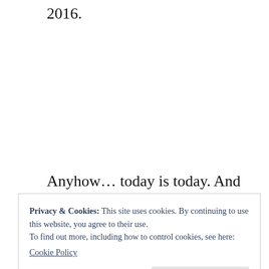2016.
Anyhow... today is today. And today she is feeling cheerful.
She is listening to a YouTube Travel vlog...
Privacy & Cookies: This site uses cookies. By continuing to use this website, you agree to their use.
To find out more, including how to control cookies, see here:
Cookie Policy
Close and accept